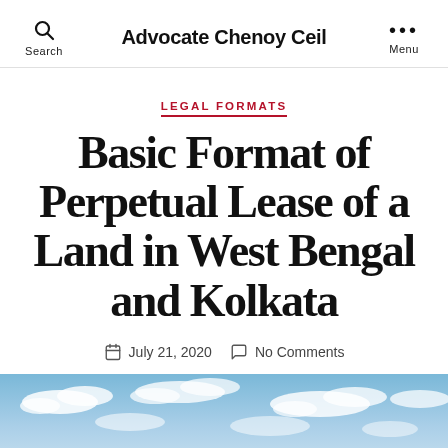Advocate Chenoy Ceil
LEGAL FORMATS
Basic Format of Perpetual Lease of a Land in West Bengal and Kolkata
July 21, 2020   No Comments
[Figure (photo): Wide landscape photograph showing a flat green field under a partly cloudy blue sky, panoramic view]